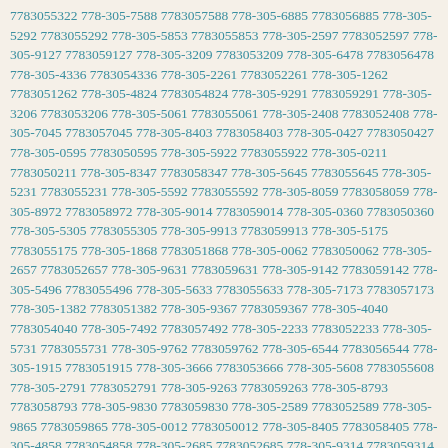7783055322 778-305-7588 7783057588 778-305-6885 7783056885 778-305-5292 7783055292 778-305-5853 7783055853 778-305-2597 7783052597 778-305-9127 7783059127 778-305-3209 7783053209 778-305-6478 7783056478 778-305-4336 7783054336 778-305-2261 7783052261 778-305-1262 7783051262 778-305-4824 7783054824 778-305-9291 7783059291 778-305-3206 7783053206 778-305-5061 7783055061 778-305-2408 7783052408 778-305-7045 7783057045 778-305-8403 7783058403 778-305-0427 7783050427 778-305-0595 7783050595 778-305-5922 7783055922 778-305-0211 7783050211 778-305-8347 7783058347 778-305-5645 7783055645 778-305-5231 7783055231 778-305-5592 7783055592 778-305-8059 7783058059 778-305-8972 7783058972 778-305-9014 7783059014 778-305-0360 7783050360 778-305-5305 7783055305 778-305-9913 7783059913 778-305-5175 7783055175 778-305-1868 7783051868 778-305-0062 7783050062 778-305-2657 7783052657 778-305-9631 7783059631 778-305-9142 7783059142 778-305-5496 7783055496 778-305-5633 7783055633 778-305-7173 7783057173 778-305-1382 7783051382 778-305-9367 7783059367 778-305-4040 7783054040 778-305-7492 7783057492 778-305-2233 7783052233 778-305-5731 7783055731 778-305-9762 7783059762 778-305-6544 7783056544 778-305-1915 7783051915 778-305-3666 7783053666 778-305-5608 7783055608 778-305-2791 7783052791 778-305-9263 7783059263 778-305-8793 7783058793 778-305-9830 7783059830 778-305-2589 7783052589 778-305-9865 7783059865 778-305-0012 7783050012 778-305-8405 7783058405 778-305-4858 7783054858 778-305-2685 7783052685 778-305-9314 7783059314 778-305-4952 7783054952 778-305-4032 7783054032 778-305-6005 7783056005 778-305-7123 7783057123 778-